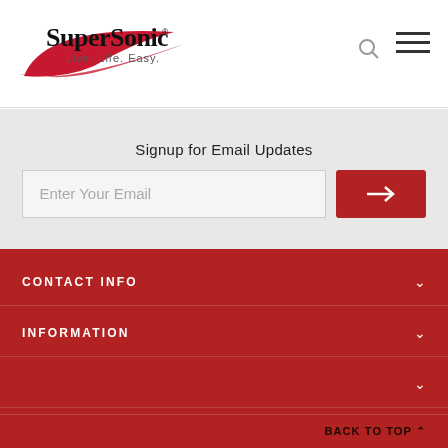[Figure (logo): SuperSonic logo with red swoosh and tagline 'Live. Life. Easy.']
Signup for Email Updates
Enter Your Email
CONTACT INFO
INFORMATION
CUSTOMER SERVICE
BACK TO TOP